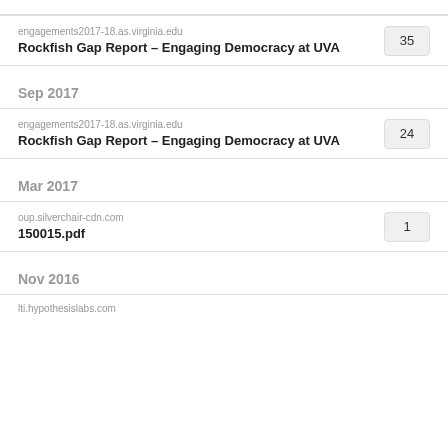engagements2017-18.as.virginia.edu
Rockfish Gap Report – Engaging Democracy at UVA
35
Sep 2017
engagements2017-18.as.virginia.edu
Rockfish Gap Report – Engaging Democracy at UVA
24
Mar 2017
oup.silverchair-cdn.com
150015.pdf
1
Nov 2016
lti.hypothesislabs.com